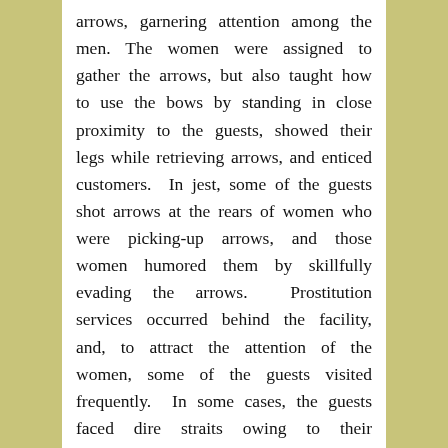arrows, garnering attention among the men. The women were assigned to gather the arrows, but also taught how to use the bows by standing in close proximity to the guests, showed their legs while retrieving arrows, and enticed customers.  In jest, some of the guests shot arrows at the rears of women who were picking-up arrows, and those women humored them by skillfully evading the arrows.  Prostitution services occurred behind the facility, and, to attract the attention of the women, some of the guests visited frequently.  In some cases, the guests faced dire straits owing to their expenditures.  However, over time, less expensive drinking establishments that also offered prostitution services (known as meishuya) led to fewer guests, and from